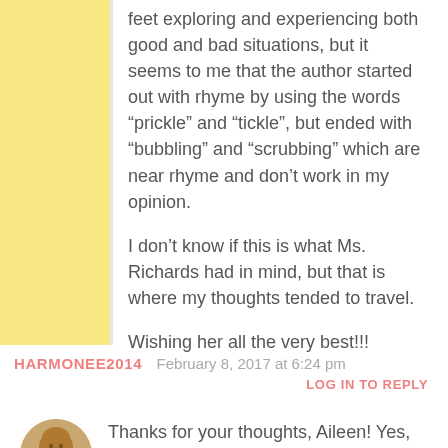feet exploring and experiencing both good and bad situations, but it seems to me that the author started out with rhyme by using the words “prickle” and “tickle”, but ended with “bubbling” and “scrubbing” which are near rhyme and don’t work in my opinion.
I don’t know if this is what Ms. Richards had in mind, but that is where my thoughts tended to travel.
Wishing her all the very best!!!
HARMONEE2014   February 8, 2017 at 6:24 pm
LOG IN TO REPLY
Thanks for your thoughts, Aileen! Yes, my ms is a rhyming story and I started out with ‘prickle’ and ‘tickle’ I can see